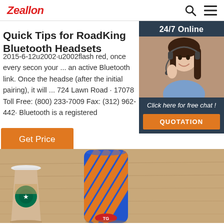Zeallon
Quick Tips for RoadKing Bluetooth Headsets
2015-6-12u2002·u2002flash red, once every secon your ... an active Bluetooth link. Once the headse (after the initial pairing), it will ... 724 Lawn Road · 17078 Toll Free: (800) 233-7009 Fax: (312) 962-442· Bluetooth is a registered
Get Price
[Figure (photo): Chat widget with '24/7 Online' header, photo of woman with headset smiling, 'Click here for free chat!' text, and orange QUOTATION button]
[Figure (photo): Product photo showing a Starbucks coffee cup on the left and a blue and orange patterned cylindrical Bluetooth speaker (TG brand) on a wooden surface]